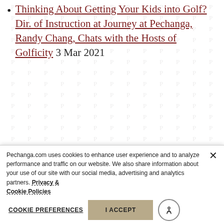Thinking About Getting Your Kids into Golf? Dir. of Instruction at Journey at Pechanga, Randy Chang, Chats with the Hosts of Golficity 3 Mar 2021
GOLFICITY – Journey at Pechanga Director of Instruction, Randy Chang, stops by the Golficity
Pechanga.com uses cookies to enhance user experience and to analyze performance and traffic on our website. We also share information about your use of our site with our social media, advertising and analytics partners. Privacy & Cookie Policies